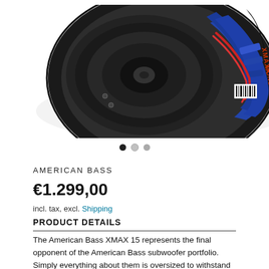[Figure (photo): American Bass XMAX 15 subwoofer shown at an angle, with black cone, blue frame, red wiring, and XMAXX MONSTER branding on the side]
● ○ ○ (image carousel navigation dots)
AMERICAN BASS
€1.299,00
incl. tax, excl. Shipping
PRODUCT DETAILS
The American Bass XMAX 15 represents the final opponent of the American Bass subwoofer portfolio. Simply everything about them is oversized to withstand the stresses of high XMAX. They have an XMAX of 50mm, a 10.16cm (4.05") voice coil capable of handling up to 7000 watts of power and a